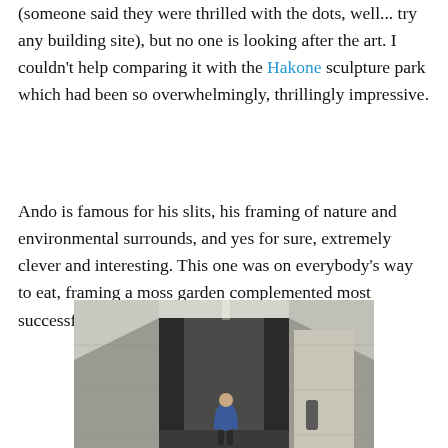(someone said they were thrilled with the dots, well... try any building site), but no one is looking after the art. I couldn't help comparing it with the Hakone sculpture park which had been so overwhelmingly, thrillingly impressive.
Ando is famous for his slits, his framing of nature and environmental surrounds, and yes for sure, extremely clever and interesting. This one was on everybody's way to eat, framing a moss garden complemented most successfully with a long thin vertical sculpture.
[Figure (photo): A person in a blue top standing in a narrow concrete corridor or hallway, viewed from behind, looking towards a concrete wall. The architecture features tall concrete walls and dramatic slit lighting typical of Tadao Ando's style.]